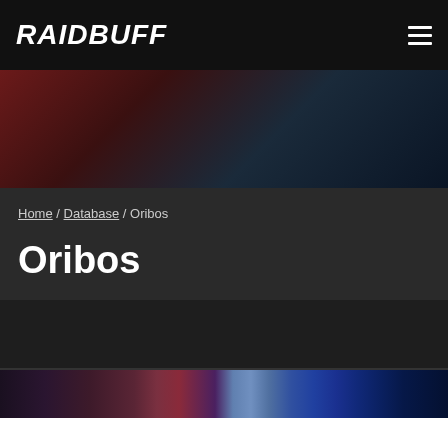RAIDBUFF
[Figure (illustration): Dark gradient hero banner with deep red on the left transitioning to dark blue on the right]
Home / Database / Oribos
Oribos
[Figure (photo): Partial image strip showing a dark fantasy scene, likely from World of Warcraft - Oribos zone, with purple and blue tones]